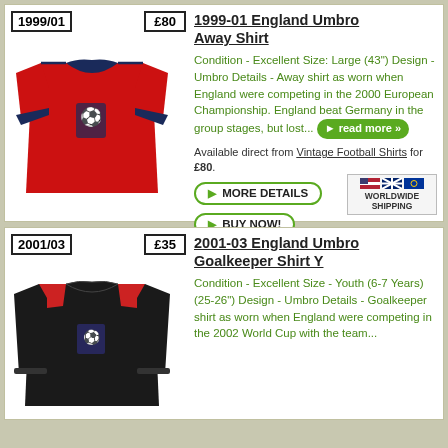[Figure (photo): 1999-01 England Umbro Away Shirt - red polo shirt with dark navy collar and Three Lions badge]
1999-01 England Umbro Away Shirt
Condition - Excellent Size: Large (43") Design - Umbro Details - Away shirt as worn when England were competing in the 2000 European Championship. England beat Germany in the group stages, but lost... read more »
Available direct from Vintage Football Shirts for £80.
MORE DETAILS
BUY NOW!
[Figure (photo): 2001-03 England Umbro Goalkeeper Shirt - black long-sleeve shirt with red shoulder stripes and Three Lions badge]
2001-03 England Umbro Goalkeeper Shirt Y
Condition - Excellent Size - Youth (6-7 Years) (25-26") Design - Umbro Details - Goalkeeper shirt as worn when England were competing in the 2002 World Cup with the team...